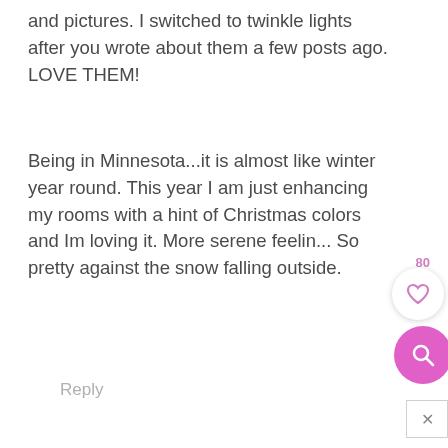and pictures. I switched to twinkle lights after you wrote about them a few posts ago. LOVE THEM!
Being in Minnesota...it is almost like winter year round. This year I am just enhancing my rooms with a hint of Christmas colors and Im loving it. More serene feelin... So pretty against the snow falling outside.
Reply